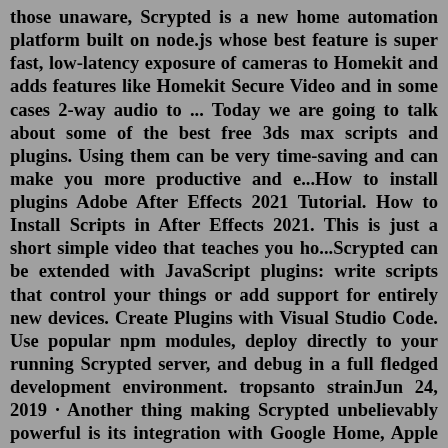those unaware, Scrypted is a new home automation platform built on node.js whose best feature is super fast, low-latency exposure of cameras to Homekit and adds features like Homekit Secure Video and in some cases 2-way audio to ... Today we are going to talk about some of the best free 3ds max scripts and plugins. Using them can be very time-saving and can make you more productive and e...How to install plugins Adobe After Effects 2021 Tutorial. How to Install Scripts in After Effects 2021. This is just a short simple video that teaches you ho...Scrypted can be extended with JavaScript plugins: write scripts that control your things or add support for entirely new devices. Create Plugins with Visual Studio Code. Use popular npm modules, deploy directly to your running Scrypted server, and debug in a full fledged development environment. tropsanto strainJun 24, 2019 · Another thing making Scrypted unbelievably powerful is its integration with Google Home, Apple HomeKit, and Amazon Alexa. This allows you to control all your devices and during the day...